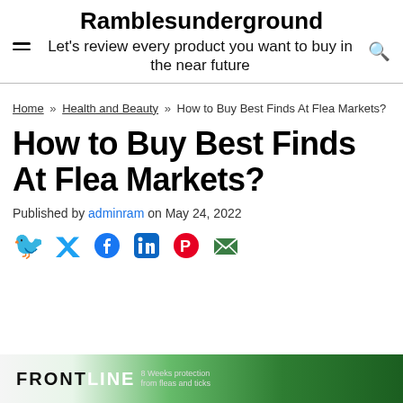Ramblesunderground — Let's review every product you want to buy in the near future
Home » Health and Beauty » How to Buy Best Finds At Flea Markets?
How to Buy Best Finds At Flea Markets?
Published by adminram on May 24, 2022
[Figure (other): Social sharing icons: Twitter, Facebook, LinkedIn, Pinterest, Email]
[Figure (photo): Frontline product packaging at bottom of page]